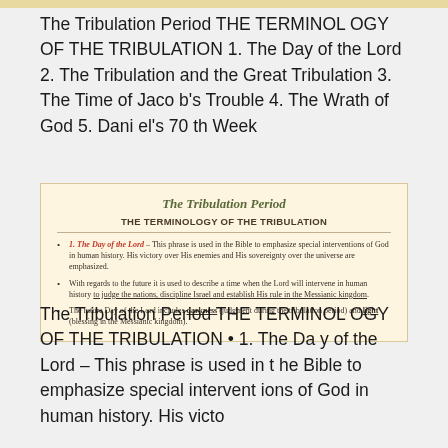The Tribulation Period THE TERMINOLOGY OF THE TRIBULATION 1. The Day of the Lord 2. The Tribulation and the Great Tribulation 3. The Time of Jacob's Trouble 4. The Wrath of God 5. Daniel's 70 th Week
[Figure (screenshot): A card/slide image showing 'The Tribulation Period' as heading, 'THE TERMINOLOGY OF THE TRIBULATION' as subtitle, and three bullet points about '1. The Day of the Lord' with explanatory text about its Biblical usage, future intervention, and darkness/light aspects.]
The Tribulation Period THE TERMINOLOGY OF THE TRIBULATION • 1. The Day of the Lord – This phrase is used in the Bible to emphasize special interventions of God in human history. His victo